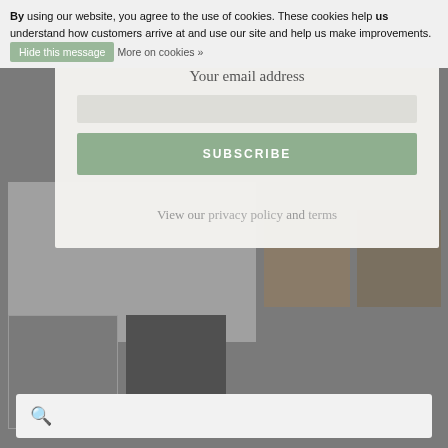By using our website, you agree to the use of cookies. These cookies help us understand how customers arrive at and use our site and help us make improvements. Hide this message More on cookies »
[Figure (screenshot): Website screenshot showing a gray background with a product image grid including metal tins and food photos, partially obscured by a semi-transparent newsletter subscription modal overlay]
Your email address
SUBSCRIBE
View our privacy policy and terms
[Figure (screenshot): Search bar with magnifying glass icon at the bottom of the page]